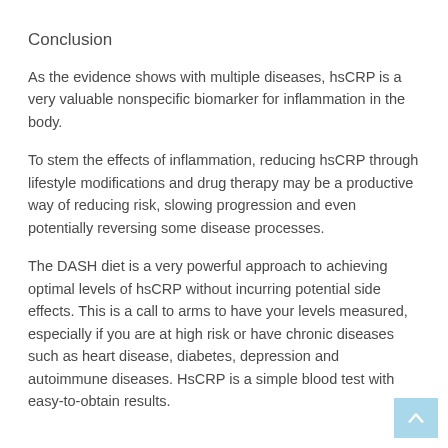Conclusion
As the evidence shows with multiple diseases, hsCRP is a very valuable nonspecific biomarker for inflammation in the body.
To stem the effects of inflammation, reducing hsCRP through lifestyle modifications and drug therapy may be a productive way of reducing risk, slowing progression and even potentially reversing some disease processes.
The DASH diet is a very powerful approach to achieving optimal levels of hsCRP without incurring potential side effects. This is a call to arms to have your levels measured, especially if you are at high risk or have chronic diseases such as heart disease, diabetes, depression and autoimmune diseases. HsCRP is a simple blood test with easy-to-obtain results.